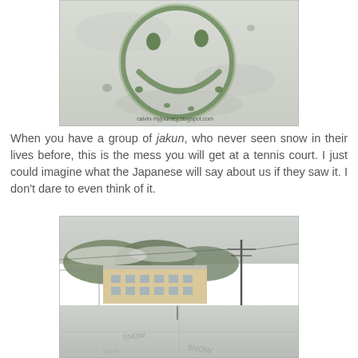[Figure (photo): Aerial/close-up photo of a snow-covered tennis court with a large smiley face drawn in the snow revealing the green surface underneath. Watermark reads 'calvin-myjourney.blogspot.com'.]
When you have a group of jakun, who never seen snow in their lives before, this is the mess you will get at a tennis court. I just could imagine what the Japanese will say about us if they saw it. I don't dare to even think of it.
[Figure (photo): Wide-angle photo of a snow-covered outdoor tennis court with writing/drawings in the snow. Buildings and trees with a power pole are visible in the background.]